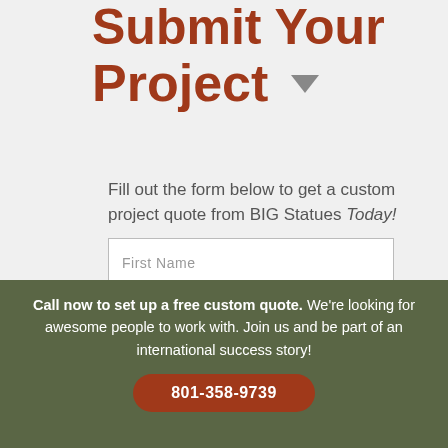Submit Your Project ▼
Fill out the form below to get a custom project quote from BIG Statues Today!
First Name
Last Name
Call now to set up a free custom quote. We're looking for awesome people to work with. Join us and be part of an international success story!
801-358-9739